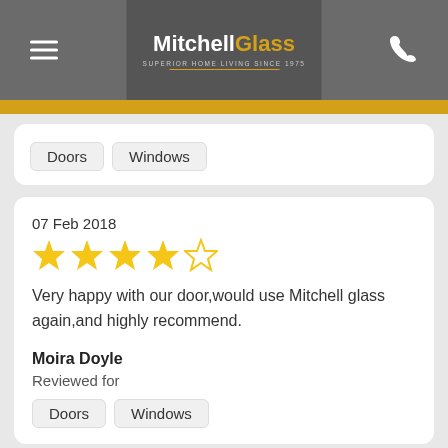[Figure (logo): MitchellGlass logo with hamburger menu and phone icon in grey header with gold bar]
Doors   Windows
07 Feb 2018
★★★★☆ (4 out of 5 stars)
Very happy with our door,would use Mitchell glass again,and highly recommend.
Moira Doyle
Reviewed for
Doors   Windows